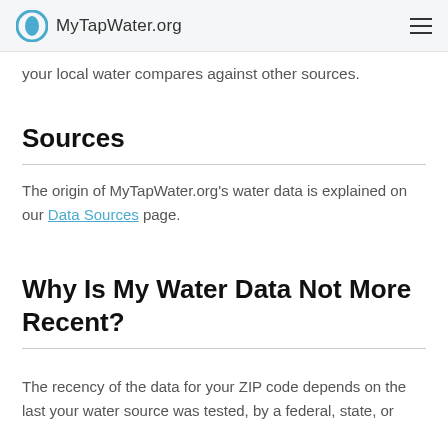MyTapWater.org
your local water compares against other sources.
Sources
The origin of MyTapWater.org's water data is explained on our Data Sources page.
Why Is My Water Data Not More Recent?
The recency of the data for your ZIP code depends on the last your water source was tested, by a federal, state, or